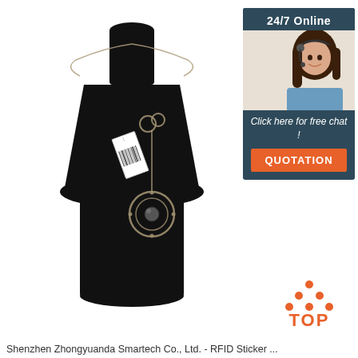[Figure (photo): A decorative necklace displayed on a black velvet bust stand. The necklace features a metallic chain with a knot/bow design accent and a circular pendant with a dark center gemstone, with a barcode tag attached.]
[Figure (photo): Customer service advertisement panel with '24/7 Online' header, photo of a smiling woman with headset, 'Click here for free chat!' text, and an orange 'QUOTATION' button.]
[Figure (infographic): Orange 'TOP' badge with upward-pointing triangle/dots icon above the word TOP in bold orange letters.]
Shenzhen Zhongyuanda Smartech Co., Ltd. - RFID Sticker ...